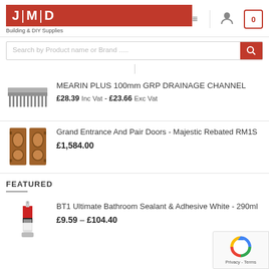[Figure (logo): JMD logo in red box, text 'Building & DIY Supplies' below]
Search by Product name or Brand .....
MEARIN PLUS 100mm GRP DRAINAGE CHANNEL
£28.39 Inc Vat - £23.66 Exc Vat
Grand Entrance And Pair Doors - Majestic Rebated RM1S
£1,584.00
FEATURED
BT1 Ultimate Bathroom Sealant & Adhesive White - 290ml
£9.59 – £104.40